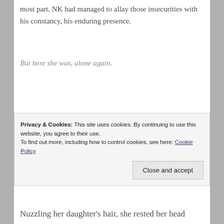most part. NK had managed to allay those insecurities with his constancy, his enduring presence.
But here she was, alone again.
Feeling her mother's palm in hers, Mira snuggled
Privacy & Cookies: This site uses cookies. By continuing to use this website, you agree to their use.
To find out more, including how to control cookies, see here: Cookie Policy
Nuzzling her daughter's hair, she rested her head